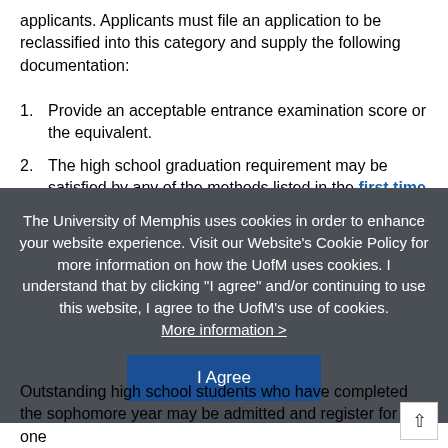applicants. Applicants must file an application to be reclassified into this category and supply the following documentation:
Provide an acceptable entrance examination score or the equivalent.
The high school graduation requirement may be satisfied by any of the methods listed in the first time
The University of Memphis uses cookies in order to enhance your website experience. Visit our Website's Cookie Policy for more information on how the UofM uses cookies. I understand that by clicking “I agree” and/or continuing to use this website, I agree to the UofM’s use of cookies. More information >
Outstanding high school students who have completed the sophomore year may be admitted and register for one